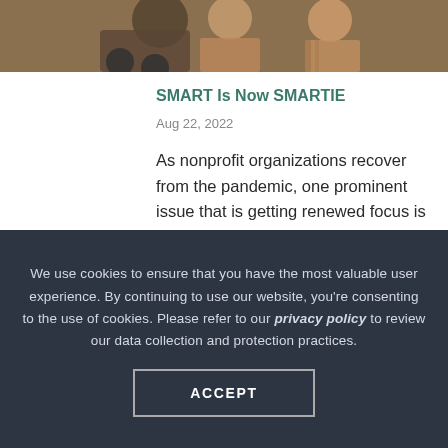[Figure (photo): Photograph of people, one in a wheelchair, partial view cropped at top of page]
SMART Is Now SMARTIE
Aug 22, 2022
As nonprofit organizations recover from the pandemic, one prominent issue that is getting renewed focus is diversity, equity, and inclusion (DEI). Fostering a broad liv...
We use cookies to ensure that you have the most valuable user experience. By continuing to use our website, you're consenting to the use of cookies. Please refer to our privacy policy to review our data collection and protection practices.
ACCEPT